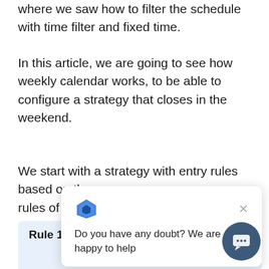where we saw how to filter the schedule with time filter and fixed time.
In this article, we are going to see how weekly calendar works, to be able to configure a strategy that closes in the weekend.
We start with a strategy with entry rules based on the aver[age] ... rules of benefits a[nd] ...
Entry rules
| Rule 1 |
| --- |
| Cross Price-MA |
[Figure (other): Chat support popup with logo icon, close button, and text 'Do you have any doubt? We are happy to help']
[Figure (other): Dark circular chat bubble button in bottom-right corner]